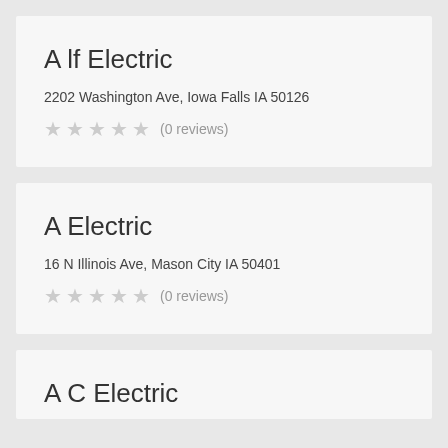A lf Electric
2202 Washington Ave, Iowa Falls IA 50126
(0 reviews)
A Electric
16 N Illinois Ave, Mason City IA 50401
(0 reviews)
A C Electric